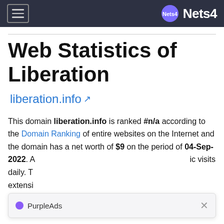Nets4
Web Statistics of Liberation
liberation.info
This domain liberation.info is ranked #n/a according to the Domain Ranking of entire websites on the Internet and the domain has a net worth of $9 on the period of 04-Sep-2022. A... visits daily. T... extensi...
[Figure (other): PurpleAds popup notification bar with close button]